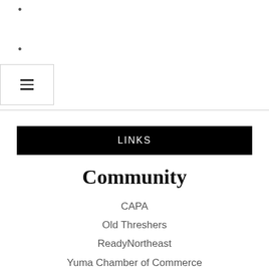•
•
[Figure (other): Hamburger menu icon in a bordered box]
LINKS
Community
CAPA
Old Threshers
ReadyNortheast
Yuma Chamber of Commerce